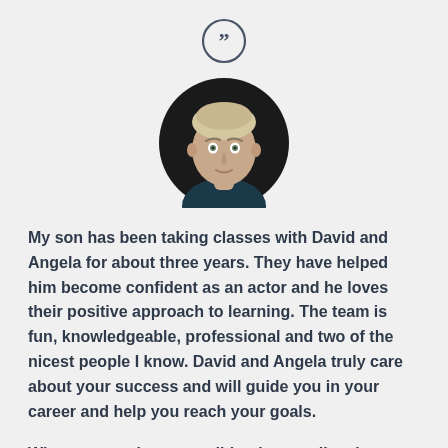[Figure (illustration): Circular quote icon with double closing quotation marks, dark grey outline on light grey background]
[Figure (photo): Circular headshot photo of a young male teenager with short hair against a dark background]
My son has been taking classes with David and Angela for about three years. They have helped him become confident as an actor and he loves their positive approach to learning. The team is fun, knowledgeable, professional and two of the nicest people I know. David and Angela truly care about your success and will guide you in your career and help you reach your goals.
When my son has an audition he usually takes a private lesson. David or Angela work with him to fully understand the character and the scene. My son has improved a lot in